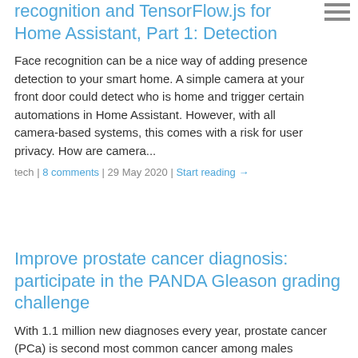recognition and TensorFlow.js for Home Assistant, Part 1: Detection
Face recognition can be a nice way of adding presence detection to your smart home. A simple camera at your front door could detect who is home and trigger certain automations in Home Assistant. However, with all camera-based systems, this comes with a risk for user privacy. How are camera...
tech | 8 comments | 29 May 2020 | Start reading →
Improve prostate cancer diagnosis: participate in the PANDA Gleason grading challenge
With 1.1 million new diagnoses every year, prostate cancer (PCa) is second most common cancer among males